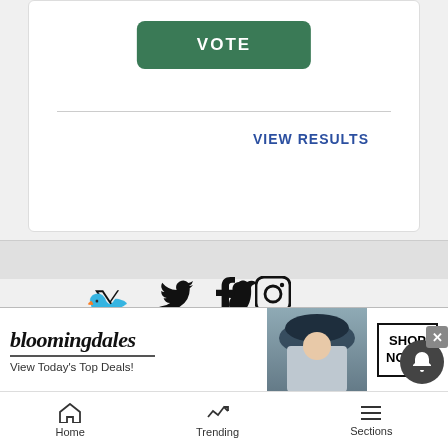[Figure (screenshot): Green VOTE button on white card]
VIEW RESULTS
[Figure (illustration): Social media icons: Twitter, Facebook, Instagram]
Marketplace
Jobs
Classifieds
Autos
Real Estate
Rentals
Service D...
Legals
Place Legal Ad
Search Legal Ads
Farm & Ranch
[Figure (screenshot): Bloomingdales ad: View Today's Top Deals! SHOP NOW >]
Home   Trending   Sections